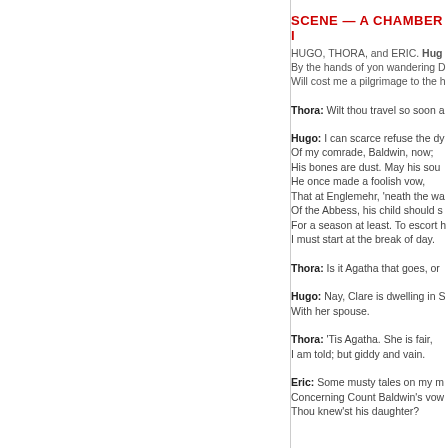SCENE — A CHAMBER I
HUGO, THORA, and ERIC. Hugo: By the hands of yon wandering D Will cost me a pilgrimage to the h
Thora: Wilt thou travel so soon a
Hugo: I can scarce refuse the dy Of my comrade, Baldwin, now; His bones are dust. May his sou He once made a foolish vow, That at Englemehr, 'neath the wa Of the Abbess, his child should s For a season at least. To escort h I must start at the break of day.
Thora: Is it Agatha that goes, or
Hugo: Nay, Clare is dwelling in S With her spouse.
Thora: 'Tis Agatha. She is fair, I am told; but giddy and vain.
Eric: Some musty tales on my m Concerning Count Baldwin's vow Thou knew'st his daughter?